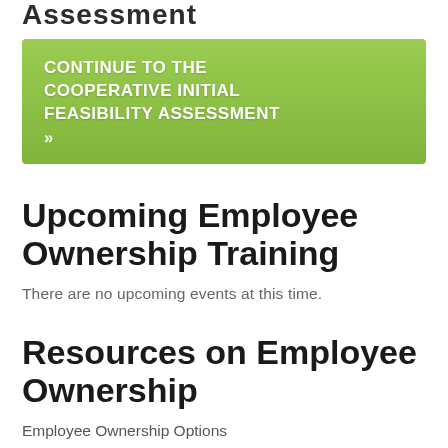Assessment
[Figure (other): Green button linking to Cooperative Initial Feasibility Assessment with text: CONTINUE TO THE COOPERATIVE INITIAL FEASIBILITY ASSESSMENT »]
Upcoming Employee Ownership Training
There are no upcoming events at this time.
Resources on Employee Ownership
Employee Ownership Options
http://www.project-equity.org/learn-about-employee-ownership-options/